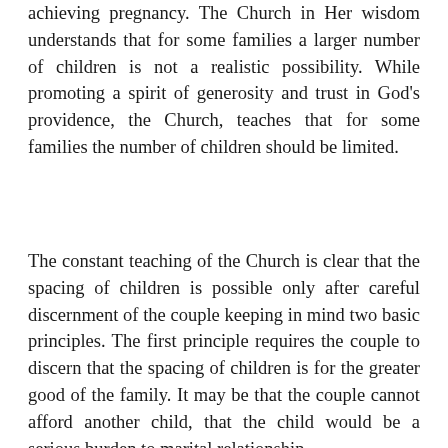achieving pregnancy. The Church in Her wisdom understands that for some families a larger number of children is not a realistic possibility. While promoting a spirit of generosity and trust in God's providence, the Church, teaches that for some families the number of children should be limited.
The constant teaching of the Church is clear that the spacing of children is possible only after careful discernment of the couple keeping in mind two basic principles. The first principle requires the couple to discern that the spacing of children is for the greater good of the family. It may be that the couple cannot afford another child, that the child would be a serious burden to marital relationship